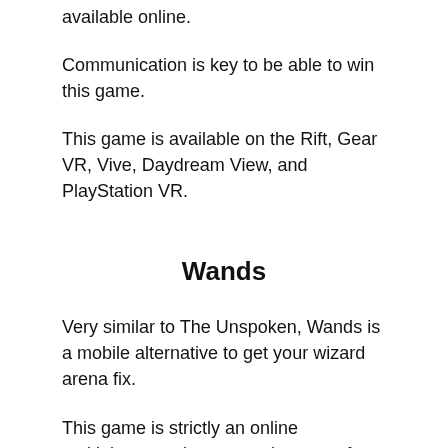available online.
Communication is key to be able to win this game.
This game is available on the Rift, Gear VR, Vive, Daydream View, and PlayStation VR.
Wands
Very similar to The Unspoken, Wands is a mobile alternative to get your wizard arena fix.
This game is strictly an online multiplayer environment where you face off against friends in a duel of wizards.
Wands has an 1880s London theme, and attention was placed on created an immersive experience with decent